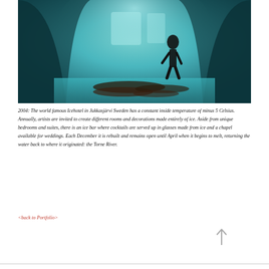[Figure (photo): Interior of the Icehotel in Jukkasjärvi, Sweden. A silhouetted figure stands in the background beneath an arched ice ceiling. Blue-tinted icy walls and floor with animal fur pelts lying on the ground in the foreground.]
2004: The world famous Icehotel in Jukkasjärvi Sweden has a constant inside temperature of minus 5 Celsius. Annually, artists are invited to create different rooms and decorations made entirely of ice. Aside from unique bedrooms and suites, there is an ice bar where cocktails are served up in glasses made from ice and a chapel available for weddings. Each December it is rebuilt and remains open until April when it begins to melt, returning the water back to where it originated: the Torne River.
<back to Portfolio>